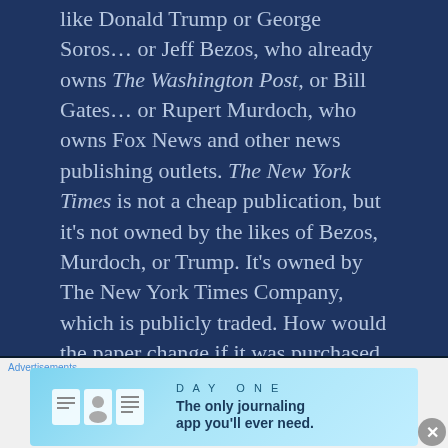like Donald Trump or George Soros… or Jeff Bezos, who already owns The Washington Post, or Bill Gates… or Rupert Murdoch, who owns Fox News and other news publishing outlets. The New York Times is not a cheap publication, but it's not owned by the likes of Bezos, Murdoch, or Trump. It's owned by The New York Times Company, which is publicly traded. How would the paper change if it was purchased by a politically affiliated billionaire with an agenda to push?
[Figure (infographic): DAY ONE journaling app advertisement banner with icons of a notebook, person, and document on a light blue background. Tagline: 'The only journaling app you'll ever need.']